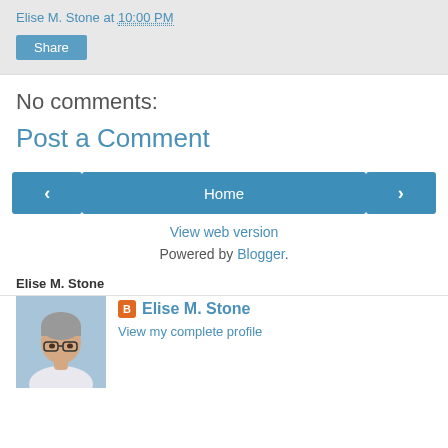Elise M. Stone at 10:00 PM
Share
No comments:
Post a Comment
< Home >
View web version
Powered by Blogger.
Elise M. Stone
[Figure (photo): Profile photo of Elise M. Stone, an older woman with short grey hair and glasses, wearing a white top]
Elise M. Stone
View my complete profile